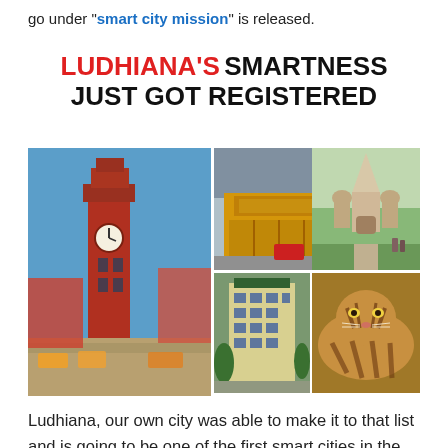go under “smart city mission” is released.
LUDHIANA'S SMARTNESS JUST GOT REGISTERED
[Figure (photo): Collage of 5 photos showing landmarks and scenes of Ludhiana: a red clock tower with busy street, a railway station, a hotel building, a temple/heritage building, and a tiger]
Ludhiana, our own city was able to make it to that list and is going to be one of the first smart cities in the country. We are very much excited and at the same